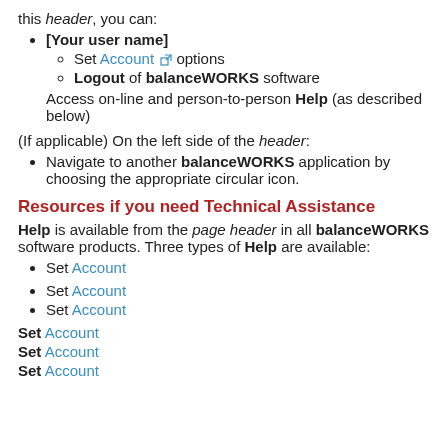this header, you can:
[Your user name]
Set Account options
Logout of balanceWORKS software
Access on-line and person-to-person Help (as described below)
(If applicable) On the left side of the header:
Navigate to another balanceWORKS application by choosing the appropriate circular icon.
Resources if you need Technical Assistance
Help is available from the page header in all balanceWORKS software products. Three types of Help are available:
Set Account
Set Account
Set Account
Set Account
Set Account
Set Account